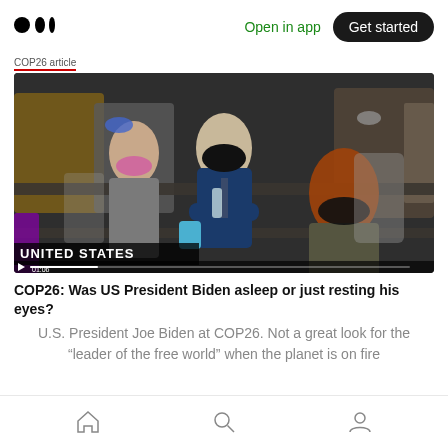Medium app header with logo, Open in app, Get started
COP26 article tab
[Figure (photo): Video screenshot of US President Joe Biden at COP26 conference, seated in a conference room wearing a black mask, arms crossed, with other masked attendees around him. A 'UNITED STATES' placard is visible at the bottom left. A play button and progress bar overlay indicate this is a video still at 01:06.]
COP26: Was US President Biden asleep or just resting his eyes?
U.S. President Joe Biden at COP26. Not a great look for the “leader of the free world” when the planet is on fire
Home | Search | Profile